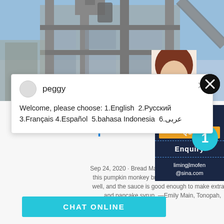[Figure (photo): Industrial structure/building photo at top of page, steel framework with blue sky]
[Figure (photo): Partial view of a woman's head in upper right corner]
peggy
Welcome, please choose: 1.English  2.Русский 3.Français 4.Español  5.bahasa Indonesia  6.عربى
25 Perfect Pumpkin Breads for Fall | Taste of Ho
Sep 24, 2020 · Bread Machine Pumpkin Monkey Bread ... this pumpkin monkey bread for a holiday brunch. L... well, and the sauce is good enough to make extra t... and pancake syrup. —Emily Main, Tonopah,
Have any requests, click here
Que
1
Enquiry
limingjlmofen@sina.com
CHAT ONLINE